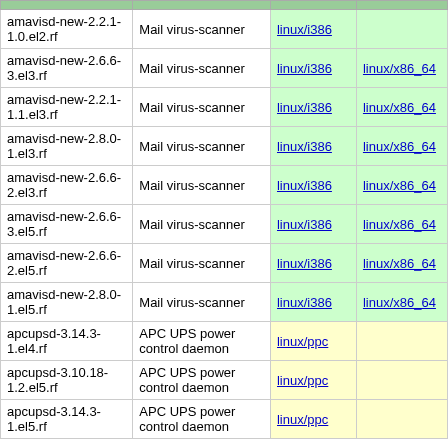| Package | Description | Arch 1 | Arch 2 |
| --- | --- | --- | --- |
| amavisd-new-2.2.1-1.0.el2.rf | Mail virus-scanner | linux/i386 |  |
| amavisd-new-2.6.6-3.el3.rf | Mail virus-scanner | linux/i386 | linux/x86_64 |
| amavisd-new-2.2.1-1.1.el3.rf | Mail virus-scanner | linux/i386 | linux/x86_64 |
| amavisd-new-2.8.0-1.el3.rf | Mail virus-scanner | linux/i386 | linux/x86_64 |
| amavisd-new-2.6.6-2.el3.rf | Mail virus-scanner | linux/i386 | linux/x86_64 |
| amavisd-new-2.6.6-3.el5.rf | Mail virus-scanner | linux/i386 | linux/x86_64 |
| amavisd-new-2.6.6-2.el5.rf | Mail virus-scanner | linux/i386 | linux/x86_64 |
| amavisd-new-2.8.0-1.el5.rf | Mail virus-scanner | linux/i386 | linux/x86_64 |
| apcupsd-3.14.3-1.el4.rf | APC UPS power control daemon | linux/ppc |  |
| apcupsd-3.10.18-1.2.el5.rf | APC UPS power control daemon | linux/ppc |  |
| apcupsd-3.14.3-1.el5.rf | APC UPS power control daemon | linux/ppc |  |